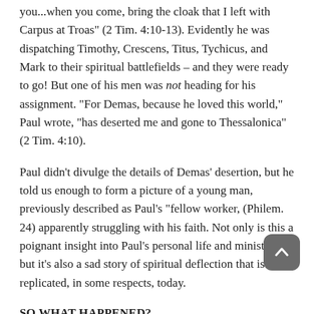Ephesus. And he added, "Do Mark and bring him with you...when you come, bring the cloak that I left with Carpus at Troas" (2 Tim. 4:10-13). Evidently he was dispatching Timothy, Crescens, Titus, Tychicus, and Mark to their spiritual battlefields – and they were ready to go! But one of his men was not heading for his assignment. "For Demas, because he loved this world," Paul wrote, "has deserted me and gone to Thessalonica" (2 Tim. 4:10).
Paul didn't divulge the details of Demas' desertion, but he told us enough to form a picture of a young man, previously described as Paul's "fellow worker, (Philem. 24) apparently struggling with his faith. Not only is this a poignant insight into Paul's personal life and ministry, but it's also a sad story of spiritual deflection that is being replicated, in some respects, today.
SO WHAT HAPPENED?
1   Love for the World over Love for Christ